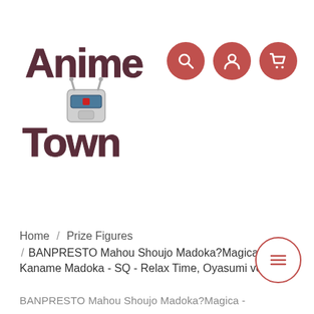[Figure (logo): Anime Town logo with stylized cartoon lettering and a robot/mecha head emblem in the center]
[Figure (infographic): Three dark red circular icon buttons: magnifying glass (search), user/person icon, and shopping cart icon]
Home / Prize Figures / BANPRESTO Mahou Shoujo Madoka?Magica - Kaname Madoka - SQ - Relax Time, Oyasumi ver.
[Figure (other): Floating action button (hamburger menu icon) — circle with three horizontal lines, dark red border]
BANPRESTO Mahou Shoujo Madoka?Magica -